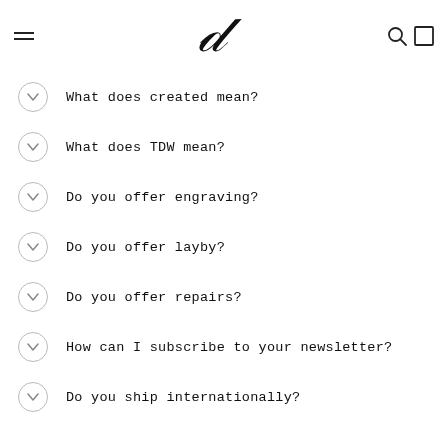Navigation header with logo
What does created mean?
What does TDW mean?
Do you offer engraving?
Do you offer layby?
Do you offer repairs?
How can I subscribe to your newsletter?
Do you ship internationally?